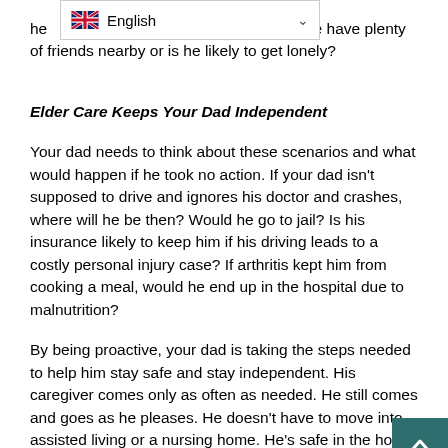he [English dropdown]? Does he have plenty of friends nearby or is he likely to get lonely?
Elder Care Keeps Your Dad Independent
Your dad needs to think about these scenarios and what would happen if he took no action. If your dad isn't supposed to drive and ignores his doctor and crashes, where will he be then? Would he go to jail? Is his insurance likely to keep him if his driving leads to a costly personal injury case? If arthritis kept him from cooking a meal, would he end up in the hospital due to malnutrition?
By being proactive, your dad is taking the steps needed to help him stay safe and stay independent. His caregiver comes only as often as needed. He still comes and goes as he pleases. He doesn't have to move into assisted living or a nursing home. He's safe in the home he loves with the help of a